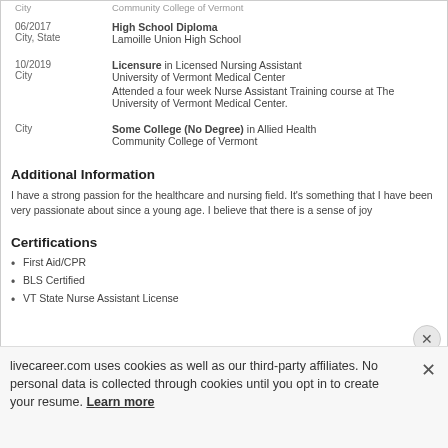| Date/Location | Credential/Institution |
| --- | --- |
| City | Community College of Vermont |
| 06/2017
City, State | High School Diploma
Lamoille Union High School |
| 10/2019
City | Licensure in Licensed Nursing Assistant
University of Vermont Medical Center
Attended a four week Nurse Assistant Training course at The University of Vermont Medical Center. |
| City | Some College (No Degree) in Allied Health
Community College of Vermont |
Additional Information
I have a strong passion for the healthcare and nursing field. It's something that I have been very passionate about since a young age. I believe that there is a sense of joy
Certifications
First Aid/CPR
BLS Certified
VT State Nurse Assistant License
livecareer.com uses cookies as well as our third-party affiliates. No personal data is collected through cookies until you opt in to create your resume. Learn more